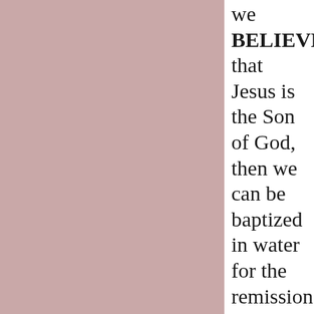we BELIEVE that Jesus is the Son of God, then we can be baptized in water for the remission of sins.
Act 8:36, 38